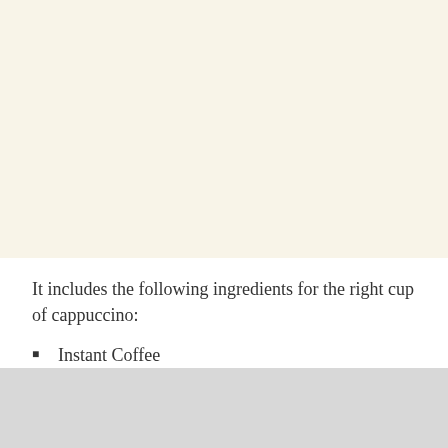It includes the following ingredients for the right cup of cappuccino:
Instant Coffee